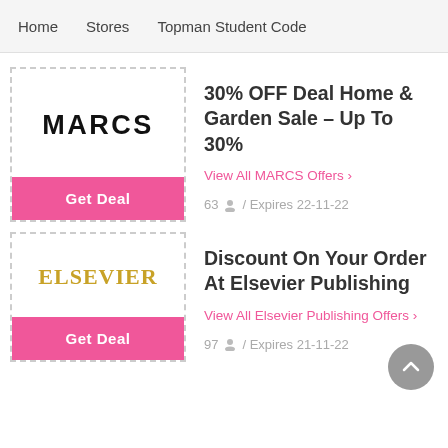Home   Stores   Topman Student Code
30% OFF Deal Home & Garden Sale - Up To 30%
View All MARCS Offers >
63 / Expires 22-11-22
Get Deal
Discount On Your Order At Elsevier Publishing
View All Elsevier Publishing Offers >
97 / Expires 21-11-22
Get Deal